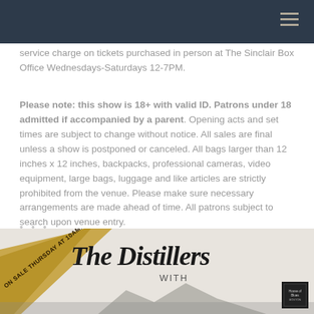service charge on tickets purchased in person at The Sinclair Box Office Wednesdays-Saturdays 12-7PM.
Please note: this show is 18+ with valid ID. Patrons under 18 admitted if accompanied by a parent. Opening acts and set times are subject to change without notice. All sales are final unless a show is postponed or canceled. All bags larger than 12 inches x 12 inches, backpacks, professional cameras, video equipment, large bags, luggage and like articles are strictly prohibited from the venue. Please make sure necessary arrangements are made ahead of time. All patrons subject to search upon venue entry.
• • •
[Figure (illustration): Event poster for The Distillers with a diagonal 'Sale Thursday at 10AM!' ribbon banner in gold/tan color on the left side, and gothic-style black lettering reading 'The Distillers' with 'WITH' below it. A small dark venue logo box appears in the bottom right corner.]